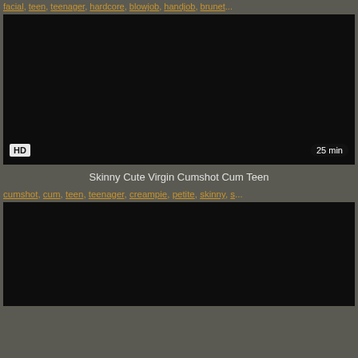facial, teen, teenager, hardcore, blowjob, handjob, brunet...
[Figure (screenshot): Dark video thumbnail with HD badge bottom-left and 25 min duration badge bottom-right]
Skinny Cute Virgin Cumshot Cum Teen
cumshot, cum, teen, teenager, creampie, petite, skinny, s...
[Figure (screenshot): Dark video thumbnail, partially visible at bottom of page]